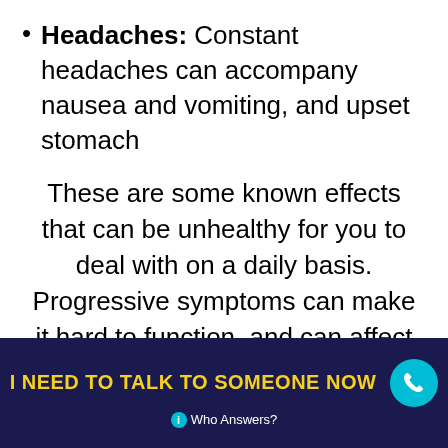Headaches: Constant headaches can accompany nausea and vomiting, and upset stomach
These are some known effects that can be unhealthy for you to deal with on a daily basis. Progressive symptoms can make it hard to function, and can affect your well-being negatively. Using too much Adderall can cause an overdose. Repeatedly abusing the drug can lead to an Addiction to Adderall. Other more dangerous effects may require immediate medical assistance.
I NEED TO TALK TO SOMEONE NOW  Who Answers?